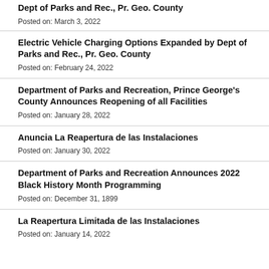Dept of Parks and Rec., Pr. Geo. County
Posted on: March 3, 2022
Electric Vehicle Charging Options Expanded by Dept of Parks and Rec., Pr. Geo. County
Posted on: February 24, 2022
Department of Parks and Recreation, Prince George's County Announces Reopening of all Facilities
Posted on: January 28, 2022
Anuncia La Reapertura de las Instalaciones
Posted on: January 30, 2022
Department of Parks and Recreation Announces 2022 Black History Month Programming
Posted on: December 31, 1899
La Reapertura Limitada de las Instalaciones
Posted on: January 14, 2022